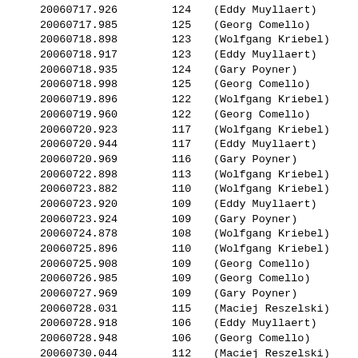| 20060717.926 | 124 | (Eddy Muyllaert) |
| 20060717.985 | 125 | (Georg Comello) |
| 20060718.898 | 123 | (Wolfgang Kriebel) |
| 20060718.917 | 123 | (Eddy Muyllaert) |
| 20060718.935 | 124 | (Gary Poyner) |
| 20060718.998 | 125 | (Georg Comello) |
| 20060719.896 | 122 | (Wolfgang Kriebel) |
| 20060719.960 | 122 | (Georg Comello) |
| 20060720.923 | 117 | (Wolfgang Kriebel) |
| 20060720.944 | 117 | (Eddy Muyllaert) |
| 20060720.969 | 116 | (Gary Poyner) |
| 20060722.898 | 113 | (Wolfgang Kriebel) |
| 20060723.882 | 110 | (Wolfgang Kriebel) |
| 20060723.920 | 109 | (Eddy Muyllaert) |
| 20060723.924 | 109 | (Gary Poyner) |
| 20060724.878 | 108 | (Wolfgang Kriebel) |
| 20060725.896 | 110 | (Wolfgang Kriebel) |
| 20060725.908 | 109 | (Georg Comello) |
| 20060726.985 | 109 | (Georg Comello) |
| 20060727.969 | 109 | (Gary Poyner) |
| 20060728.031 | 115 | (Maciej Reszelski) |
| 20060728.918 | 106 | (Eddy Muyllaert) |
| 20060728.948 | 106 | (Georg Comello) |
| 20060730.044 | 112 | (Maciej Reszelski) |
| 20060730.913 | 106 | (Eddy Muyllaert) |
| 20060731.017 | 107 | (Georg Comello) |
| 20060731.962 | 108 | (Georg Comello) |
| 20060801.007 | 107 | (Gary Poyner) |
| 20060801.937 | 108 | (Georg Comello) |
| 20060802.969 | 111 | (Georg Comello) |